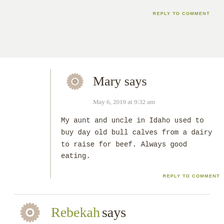REPLY TO COMMENT
Mary says
May 6, 2019 at 9:32 am
My aunt and uncle in Idaho used to buy day old bull calves from a dairy to raise for beef. Always good eating.
REPLY TO COMMENT
Rebekah says
September 20, 2012 at 9:55 am